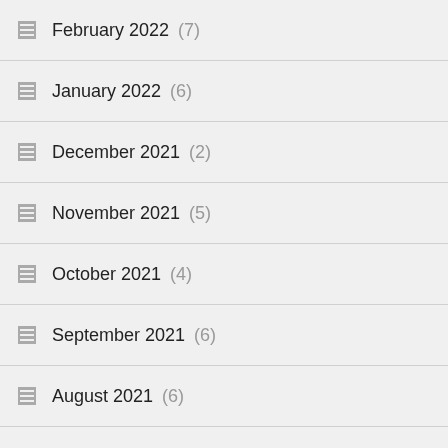February 2022 (7)
January 2022 (6)
December 2021 (2)
November 2021 (5)
October 2021 (4)
September 2021 (6)
August 2021 (6)
July 2021 (4)
June 2021 (6)
May 2021 (8)